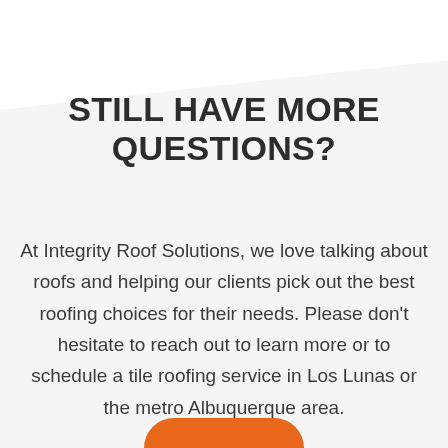STILL HAVE MORE QUESTIONS?
At Integrity Roof Solutions, we love talking about roofs and helping our clients pick out the best roofing choices for their needs. Please don't hesitate to reach out to learn more or to schedule a tile roofing service in Los Lunas or the metro Albuquerque area.